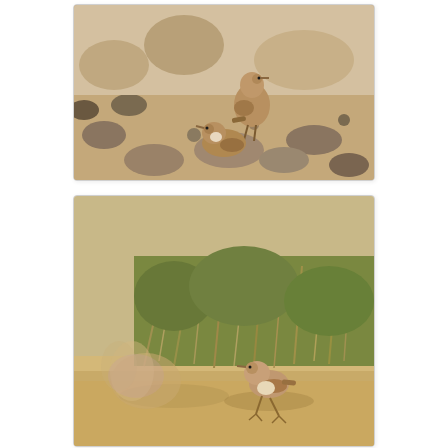[Figure (photo): Two small brown birds standing on rocky sandy ground. One bird is upright and perched above another, both are camouflaged against the brown rocky terrain.]
[Figure (photo): Two small birds on sandy ground with dry scrubby brush in the background. One bird is blurred on the left side suggesting motion, while the other runs to the right. Sandy/dusty habitat.]
Two males were constantly singing in each other's faces, chasing each other and basically being very annoying: